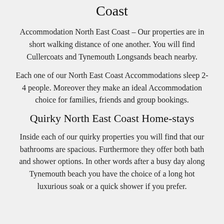Coast
Accommodation North East Coast – Our properties are in short walking distance of one another. You will find Cullercoats and Tynemouth Longsands beach nearby.
Each one of our North East Coast Accommodations sleep 2-4 people. Moreover they make an ideal Accommodation choice for families, friends and group bookings.
Quirky North East Coast Home-stays
Inside each of our quirky properties you will find that our bathrooms are spacious. Furthermore they offer both bath and shower options. In other words after a busy day along Tynemouth beach you have the choice of a long hot luxurious soak or a quick shower if you prefer.